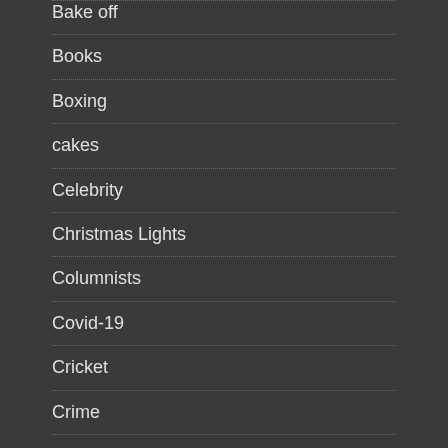Bake off
Books
Boxing
cakes
Celebrity
Christmas Lights
Columnists
Covid-19
Cricket
Crime
Education
Entertainment
Environment
Exeter Chiefs